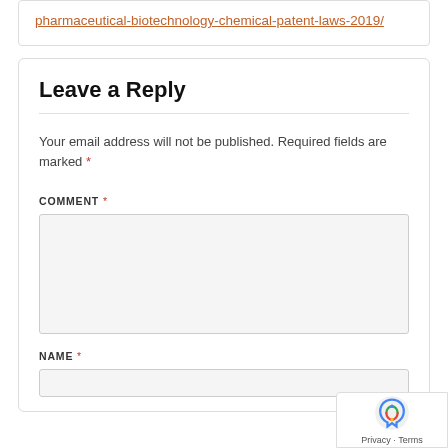pharmaceutical-biotechnology-chemical-patent-laws-2019/
Leave a Reply
Your email address will not be published. Required fields are marked *
COMMENT *
NAME *